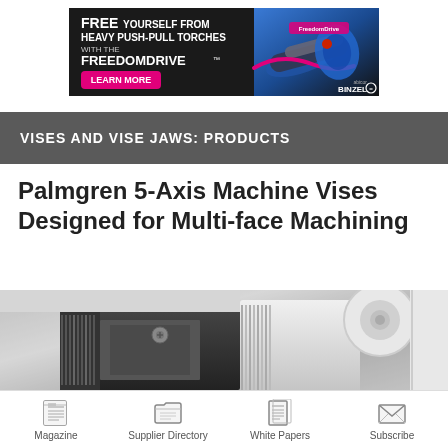[Figure (illustration): Advertisement banner for Binzel FreedomDrive welding torch product. Dark background with text 'FREE YOURSELF FROM HEAVY PUSH-PULL TORCHES WITH THE FREEDOMDRIVE' and a pink 'LEARN MORE' button. Right side shows a blue welding tool image.]
VISES AND VISE JAWS: PRODUCTS
Palmgren 5-Axis Machine Vises Designed for Multi-face Machining
[Figure (photo): Close-up photograph of a Palmgren 5-axis machine vise showing metallic clamping jaws and ridged surfaces against a white background.]
Magazine   Supplier Directory   White Papers   Subscribe